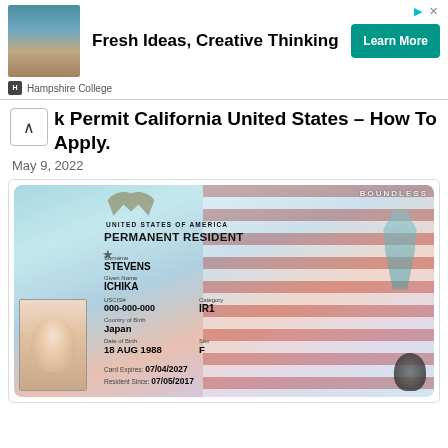[Figure (screenshot): Ad banner for Hampshire College with photo of woman, text 'Fresh Ideas, Creative Thinking', and 'Learn More' button]
k Permit California United States – How To Apply.
May 9, 2022
[Figure (photo): United States Permanent Resident card (Green Card) showing: Surname: STEVENS, Given Name: ICHIKA, USCIS#: 000-000-000, Category: IR1, Country of Birth: Japan, Date of Birth: 18 AUG 1988, Sex: F, Card Expires: 07/04/2027, Resident Since: 07/05/2017, BOUNDLESS watermark]